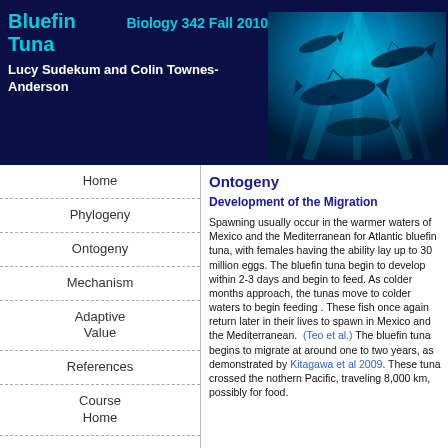Bluefin Tuna   Biology 342 Fall 2010
Lucy Sudekum and Colin Townes-Anderson
[Figure (photo): Underwater photo of bluefin tuna swimming in blue water, viewed from below with light filtering through]
Home
Phylogeny
Ontogeny
Mechanism
Adaptive Value
References
Course Home
Ontogeny
Development of the Migration
Spawning usually occur in the warmer waters of Mexico and the Mediterranean for Atlantic bluefin tuna, with females having the ability lay up to 30 million eggs. The bluefin tuna begin to develop within 2-3 days and begin to feed. As colder months approach, the tunas move to colder waters to begin feeding . These fish once again return later in their lives to spawn in Mexico and the Mediterranean.  (Teo et al.) The bluefin tuna begins to migrate at around one to two years, as demonstrated by Kitagawa et al 2009. These tuna crossed the nothern Pacific, traveling 8,000 km, possibly for food.